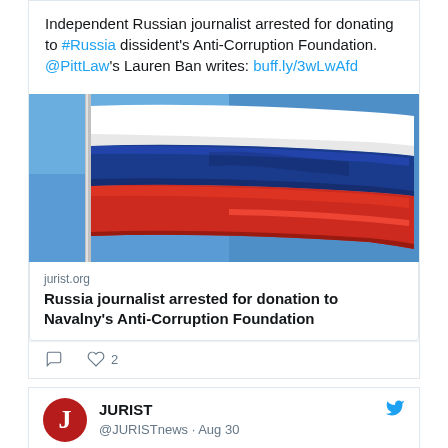Independent Russian journalist arrested for donating to #Russia dissident's Anti-Corruption Foundation. @PittLaw's Lauren Ban writes: buff.ly/3wLwAfd
[Figure (photo): Russian flag waving against blue sky]
jurist.org
Russia journalist arrested for donation to Navalny's Anti-Corruption Foundation
Reply icon, Heart icon 2
JURIST @JURISTnews · Aug 30